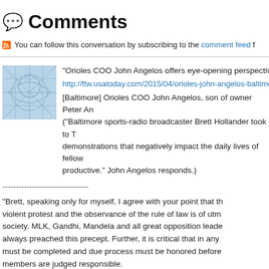Comments
You can follow this conversation by subscribing to the comment feed f
"Orioles COO John Angelos offers eye-opening perspective o
http://ftw.usatoday.com/2015/04/orioles-john-angelos-baltimo
[Baltimore] Orioles COO John Angelos, son of owner Peter An ("Baltimore sports-radio broadcaster Brett Hollander took to T demonstrations that negatively impact the daily lives of fellow productive." John Angelos responds.)
--------------------------------
"Brett, speaking only for myself, I agree with your point that th violent protest and the observance of the rule of law is of utm society. MLK, Gandhi, Mandela and all great opposition leade always preached this precept. Further, it is critical that in any must be completed and due process must be honored before members are judged responsible.